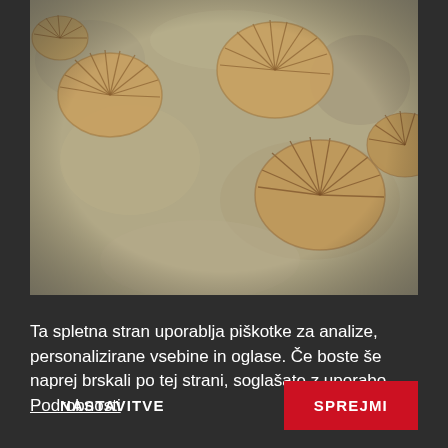[Figure (photo): Close-up photograph of fossil brachiopods or similar shell fossils embedded in gray limestone rock. Multiple fan-shaped brown fossils are visible against the pale gray stone background.]
Ta spletna stran uporablja piškotke za analize, personalizirane vsebine in oglase. Če boste še naprej brskali po tej strani, soglašate z uporabo. Podrobnosti
NASTAVITVE
SPREJMI